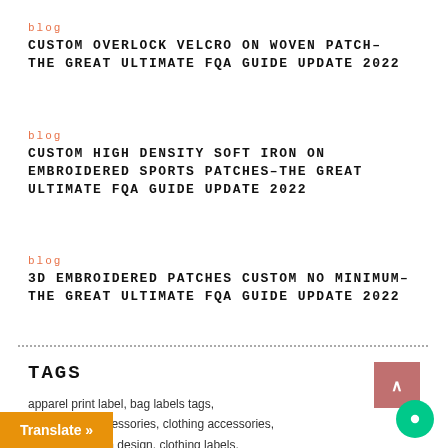blog
CUSTOM OVERLOCK VELCRO ON WOVEN PATCH–THE GREAT ULTIMATE FQA GUIDE UPDATE 2022
blog
CUSTOM HIGH DENSITY SOFT IRON ON EMBROIDERED SPORTS PATCHES–THE GREAT ULTIMATE FQA GUIDE UPDATE 2022
blog
3D EMBROIDERED PATCHES CUSTOM NO MINIMUM–THE GREAT ULTIMATE FQA GUIDE UPDATE 2022
TAGS
apparel print label, bag labels tags, clothes and accessories, clothing accessories, essories in cloth design, clothing labels,